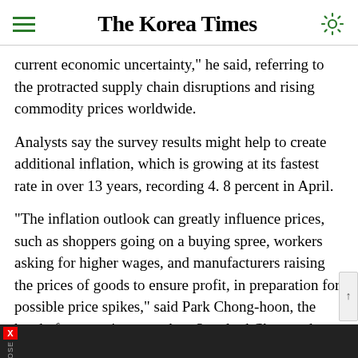The Korea Times
current economic uncertainty," he said, referring to the protracted supply chain disruptions and rising commodity prices worldwide.
Analysts say the survey results might help to create additional inflation, which is growing at its fastest rate in over 13 years, recording 4. 8 percent in April.
"The inflation outlook can greatly influence prices, such as shoppers going on a buying spree, workers asking for higher wages, and manufacturers raising the prices of goods to ensure profit, in preparation for possible price spikes," said Park Chong-hoon, the head of economic research at Standard Chartered